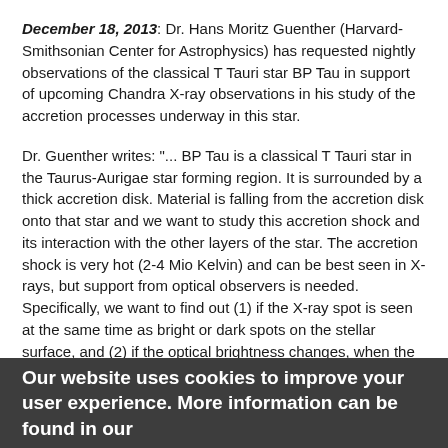December 18, 2013: Dr. Hans Moritz Guenther (Harvard-Smithsonian Center for Astrophysics) has requested nightly observations of the classical T Tauri star BP Tau in support of upcoming Chandra X-ray observations in his study of the accretion processes underway in this star.
Dr. Guenther writes: "... BP Tau is a classical T Tauri star in the Taurus-Aurigae star forming region. It is surrounded by a thick accretion disk. Material is falling from the accretion disk onto that star and we want to study this accretion shock and its interaction with the other layers of the star. The accretion shock is very hot (2-4 Mio Kelvin) and can be best seen in X-rays, but support from optical observers is needed. Specifically, we want to find out (1) if the X-ray spot is seen at the same time as bright or dark spots on the stellar surface, and (2) if the optical brightness changes, when the X-ray flux suddenly goes up or down due to changes of the rate of accretion or stellar flares. To do all this we need optical light curves over several weeks, so that we can see the rotational modulation and the average fluctuation in the light curve. For this we ask for the help of the AAVSO.
Our website uses cookies to improve your user experience. More information can be found in our